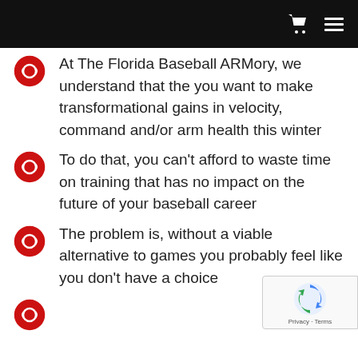At The Florida Baseball ARMory, we understand that the you want to make transformational gains in velocity, command and/or arm health this winter
To do that, you can't afford to waste time on training that has no impact on the future of your baseball career
The problem is, without a viable alternative to games you probably feel like you don't have a choice
We believe…